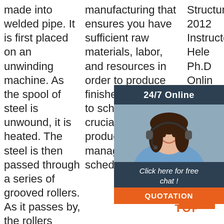made into welded pipe. It is first placed on an unwinding machine. As the spool of steel is unwound, it is heated. The steel is then passed through a series of grooved rollers. As it passes by, the rollers cause the
manufacturing that ensures you have sufficient raw materials, labor, and resources in order to produce finished products to schedule. It is a crucial step in production management and scheduling
Structures 2012 Instructor: Hele... Ph.D... Onlin... Cent... Mea... Esta...
[Figure (infographic): 24/7 Online chat widget with a photo of a customer service representative wearing a headset. Dark navy background with text '24/7 Online' and 'Click here for free chat!' and an orange 'QUOTATION' button.]
Ge...
[Figure (illustration): Orange dot pattern forming a triangle/tent shape above the word TOP in orange bold text, serving as a 'back to top' navigation icon.]